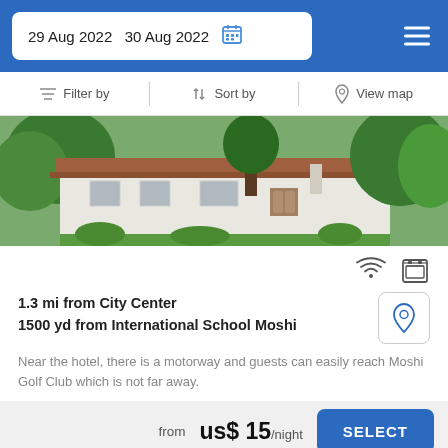29 Aug 2022   30 Aug 2022
Filter by   Sort by   View map
[Figure (photo): Exterior photo of a white single-storey building with red roof surrounded by green trees and gardens]
1.3 mi from City Center
1500 yd from International School Moshi
Near the hotel, there is a motorway and guests can easily reach Moshi Golf Club which is not far away.
from  us$ 15/night   SELECT
Booked.net uses cookies that are strictly necessary for its functioning. We do not collect analytical and marketing cookies.
Hotel